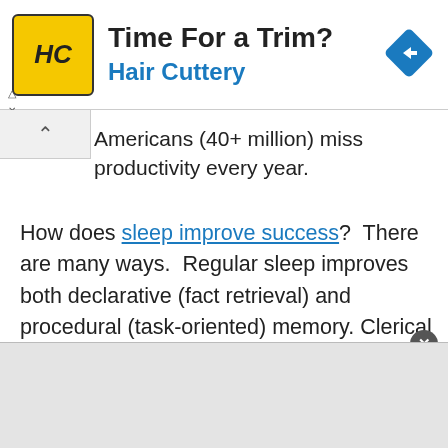[Figure (other): Hair Cuttery advertisement banner with HC logo in yellow square, title 'Time For a Trim?', blue subtitle 'Hair Cuttery', and blue diamond navigation arrow icon]
Americans (40+ million) miss productivity every year.
How does sleep improve success?  There are many ways.  Regular sleep improves both declarative (fact retrieval) and procedural (task-oriented) memory.  Clerical errors and mistakes are less likely to happen when one is well rested.  Sleep strengthens the human immune system, shielding individuals from illness.  People who want to invest in themselves ought to invest in their sleeping hours.
There are numerous easy steps that can be taken by